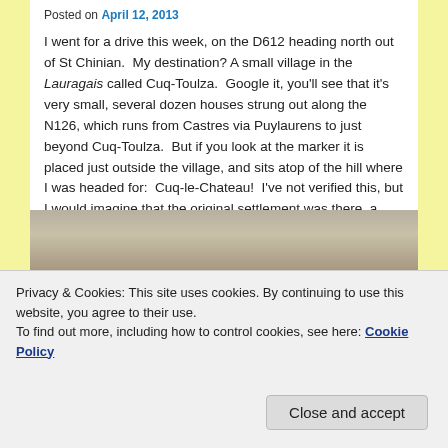Posted on April 12, 2013
I went for a drive this week, on the D612 heading north out of St Chinian. My destination? A small village in the Lauragais called Cuq-Toulza. Google it, you'll see that it's very small, several dozen houses strung out along the N126, which runs from Castres via Puylaurens to just beyond Cuq-Toulza. But if you look at the marker it is placed just outside the village, and sits atop of the hill where I was headed for: Cuq-le-Chateau! I've not verified this, but I would imagine that the original settlement was there, a small village built around the château and the church, at the top of the hill and easy to defend. I had come to visit my friends Philippe and
Privacy & Cookies: This site uses cookies. By continuing to use this website, you agree to their use.
To find out more, including how to control cookies, see here: Cookie Policy
Close and accept